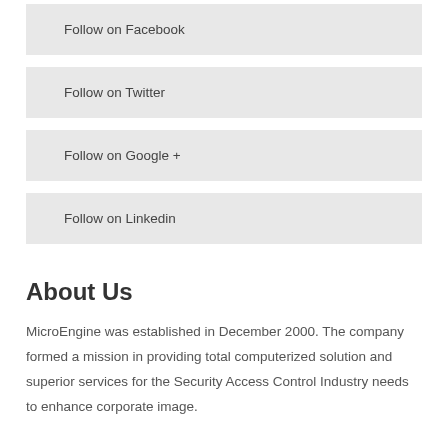Follow on Facebook
Follow on Twitter
Follow on Google +
Follow on Linkedin
About Us
MicroEngine was established in December 2000. The company formed a mission in providing total computerized solution and superior services for the Security Access Control Industry needs to enhance corporate image.